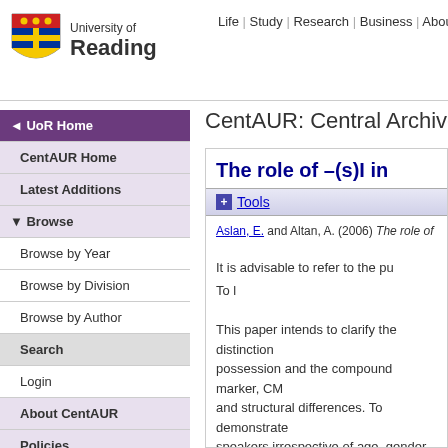[Figure (logo): University of Reading shield logo with text]
Life | Study | Research | Business | About | A-Z
CentAUR: Central Archive at
◄ UoR Home
CentAUR Home
Latest Additions
▼ Browse
Browse by Year
Browse by Division
Browse by Author
Search
Login
About CentAUR
Policies
Help
Contact Us
The role of –(s)I in
+ Tools
Aslan, E. and Altan, A. (2006) The role of
It is advisable to refer to the pu
To l
This paper intends to clarify the distinction possession and the compound marker, CM and structural differences. To demonstrate speakers irrespective of age, gender, and e nominal compounds, either the head or th